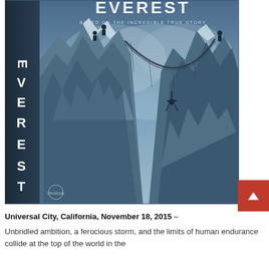[Figure (photo): Movie poster for EVEREST (2015). Shows mountain climbers traversing a rope bridge between two snow-covered rocky peaks, one figure hanging below the rope. The text 'EVEREST' is written vertically on the left side. At top: 'BASED ON THE INCREDIBLE TRUE STORY'. Universal Pictures logo at bottom left. Scene is in blue-grey tones with dramatic cloudy sky.]
Universal City, California, November 18, 2015 – Unbridled ambition, a ferocious storm, and the limits of human endurance collide at the top of the world in the